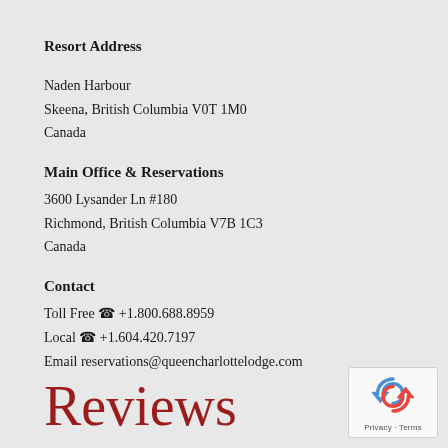Resort Address
Naden Harbour
Skeena, British Columbia V0T 1M0
Canada
Main Office & Reservations
3600 Lysander Ln #180
Richmond, British Columbia V7B 1C3
Canada
Contact
Toll Free ☎ +1.800.688.8959
Local ☎ +1.604.420.7197
Email reservations@queencharlottelodge.com
Reviews
[Figure (logo): reCAPTCHA logo with Privacy and Terms text]